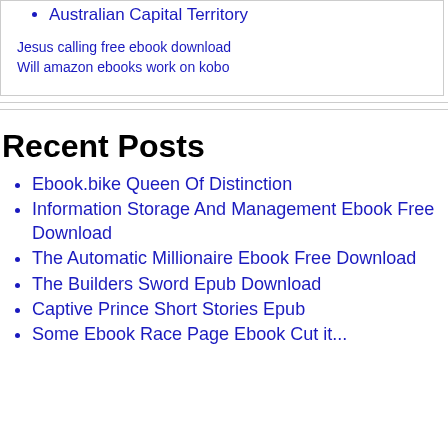Australian Capital Territory
Jesus calling free ebook download
Will amazon ebooks work on kobo
Recent Posts
Ebook.bike Queen Of Distinction
Information Storage And Management Ebook Free Download
The Automatic Millionaire Ebook Free Download
The Builders Sword Epub Download
Captive Prince Short Stories Epub
Some Ebook or Page Ebook Cut it...